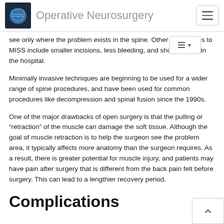Operative Neurosurgery
see only where the problem exists in the spine. Other advantages to MISS include smaller incisions, less bleeding, and shorter stays in the hospital.
Minimally invasive techniques are beginning to be used for a wider range of spine procedures, and have been used for common procedures like decompression and spinal fusion since the 1990s.
One of the major drawbacks of open surgery is that the pulling or “retraction” of the muscle can damage the soft tissue. Although the goal of muscle retraction is to help the surgeon see the problem area, it typically affects more anatomy than the surgeon requires. As a result, there is greater potential for muscle injury, and patients may have pain after surgery that is different from the back pain felt before surgery. This can lead to a lengthier recovery period.
Complications